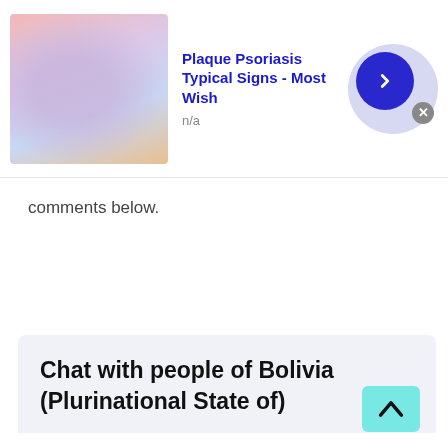[Figure (screenshot): Ad banner with thumbnail image of skin condition, title 'Plaque Psoriasis Typical Signs - Most Wish', subtitle 'n/a', and a blue arrow button]
comments below.
Chat with people of Bolivia (Plurinational State of)
Remember those old days when talking to a stranger was considered as a weird thing? Yeah, that was way back in the 90's. However, now we are
[Figure (screenshot): Second ad banner with thumbnail image of skin condition, title 'Plaque Psoriasis Typical Signs - Most Wish', subtitle 'n/a', and a blue arrow button]